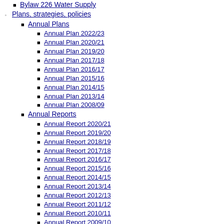Bylaw 226 Water Supply
Plans, strategies, policies
Annual Plans
Annual Plan 2022/23
Annual Plan 2020/21
Annual Plan 2019/20
Annual Plan 2017/18
Annual Plan 2016/17
Annual Plan 2015/16
Annual Plan 2014/15
Annual Plan 2013/14
Annual Plan 2008/09
Annual Reports
Annual Report 2020/21
Annual Report 2019/20
Annual Report 2018/19
Annual Report 2017/18
Annual Report 2016/17
Annual Report 2015/16
Annual Report 2014/15
Annual Report 2013/14
Annual Report 2012/13
Annual Report 2011/12
Annual Report 2010/11
Annual Report 2009/10
Annual Report 2008/09